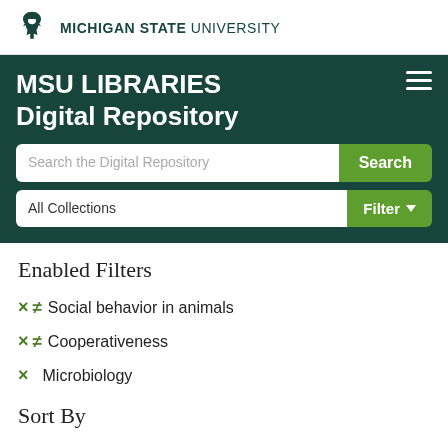MICHIGAN STATE UNIVERSITY
MSU LIBRARIES Digital Repository
Search the Digital Repository
All Collections
Enabled Filters
× ≠ Social behavior in animals
× ≠ Cooperativeness
× Microbiology
Sort By